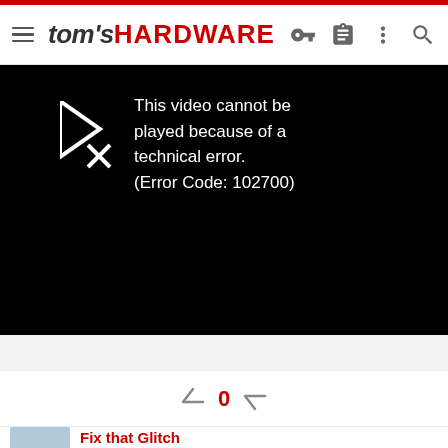tom's HARDWARE
[Figure (screenshot): Video player showing error: 'This video cannot be played because of a technical error. (Error Code: 102700)' on a black background with a broken play icon.]
0
Fix that Glitch